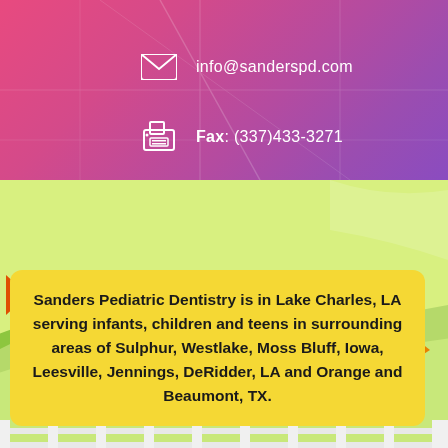info@sanderspd.com
Fax: (337)433-3271
Sanders Pediatric Dentistry is in Lake Charles, LA serving infants, children and teens in surrounding areas of Sulphur, Westlake, Moss Bluff, Iowa, Leesville, Jennings, DeRidder, LA and Orange and Beaumont, TX.
[Figure (illustration): Colorful website footer showing contact info over a map background with gradient pink-to-purple overlay, rolling green hills with white picket fence, yellow speech bubble with service area description, and green navigation buttons at the bottom.]